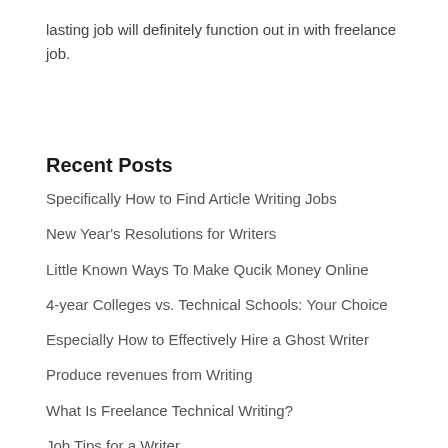lasting job will definitely function out in with freelance job.
Recent Posts
Specifically How to Find Article Writing Jobs
New Year's Resolutions for Writers
Little Known Ways To Make Qucik Money Online
4-year Colleges vs. Technical Schools: Your Choice
Especially How to Effectively Hire a Ghost Writer
Produce revenues from Writing
What Is Freelance Technical Writing?
Job Tips for a Writer
What Is Freelance Journalism?